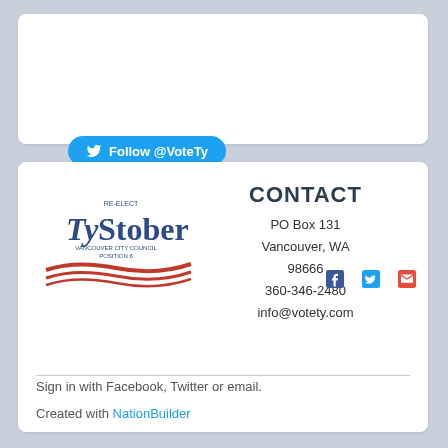[Figure (other): Twitter Follow button with bird icon reading 'Follow @VoteTy' in a blue rounded button]
[Figure (logo): Re-elect Ty Stober Vancouver City Council Position 6 campaign logo with red swoosh waves]
CONTACT
PO Box 131
Vancouver, WA
98666
360-346-2480
info@votety.com
[Figure (other): Facebook, Twitter, and email social media icons]
Sign in with Facebook, Twitter or email.
Created with NationBuilder